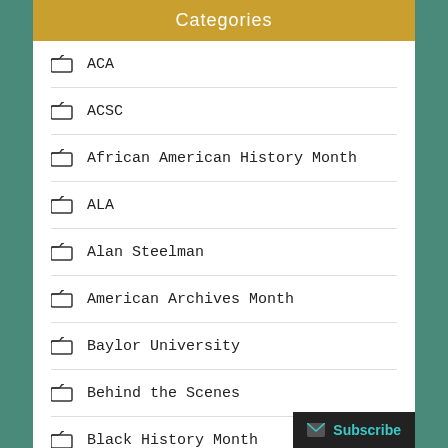Categories
ACA
ACSC
African American History Month
ALA
Alan Steelman
American Archives Month
Baylor University
Behind the Scenes
Black History Month